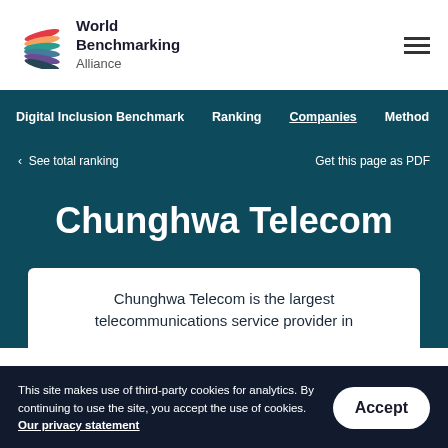[Figure (logo): World Benchmarking Alliance logo with colorful globe icon]
World Benchmarking Alliance
Digital Inclusion Benchmark  Ranking  Companies  Method
< See total ranking   Get this page as PDF
Chunghwa Telecom
Chunghwa Telecom is the largest telecommunications service provider in
This site makes use of third-party cookies for analytics. By continuing to use the site, you accept the use of cookies. Our privacy statement